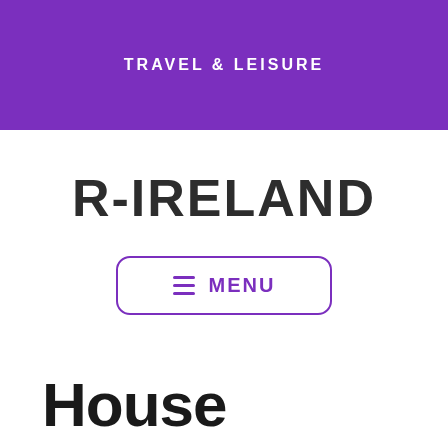TRAVEL & LEISURE
R-IRELAND
≡ MENU
House